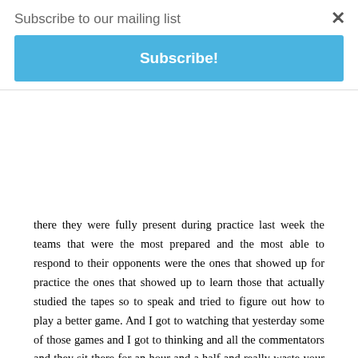Subscribe to our mailing list
Subscribe!
there they were fully present during practice last week the teams that were the most prepared and the most able to respond to their opponents were the ones that showed up for practice the ones that showed up to learn those that actually studied the tapes so to speak and tried to figure out how to play a better game. And I got to watching that yesterday some of those games and I got to thinking and all the commentators and they sit there for an hour and a half and really waste your time but you sit there and listen anyway to how important all these things are about the stats and the and the plays and the players in the game makers The ones are going to make a difference the ones to be watching for the next game and I got to thinking this